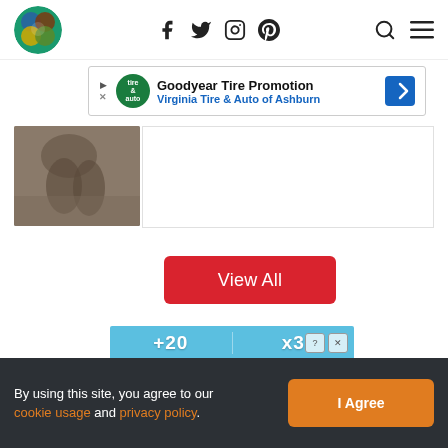Pet website header with logo, social icons (Facebook, Twitter, Instagram, Pinterest), search and menu icons
[Figure (screenshot): Advertisement banner: Goodyear Tire Promotion - Virginia Tire & Auto of Ashburn]
[Figure (photo): Partial image of a dog walking on pavement]
[Figure (screenshot): Game advertisement showing +20, x3 bonus counters with a bowling alley perspective view]
[Figure (logo): Orange paw print icon]
View All
By using this site, you agree to our cookie usage and privacy policy. | I Agree button